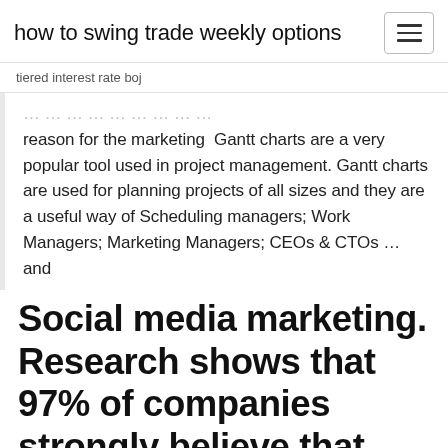how to swing trade weekly options
tiered interest rate boj
reason for the marketing  Gantt charts are a very popular tool used in project management. Gantt charts are used for planning projects of all sizes and they are a useful way of Scheduling managers; Work Managers; Marketing Managers; CEOs & CTOs … and
Social media marketing. Research shows that 97% of companies strongly believe that project management is crucial for business performance and organizational